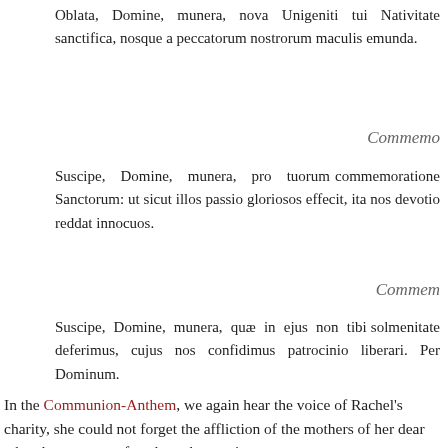Oblata, Domine, munera, nova Unigeniti tui Nativitate sanctifica, nosque a peccatorum nostrorum maculis emunda.
Commemo
Suscipe, Domine, munera, pro tuorum commemoratione Sanctorum: ut sicut illos passio gloriosos effecit, ita nos devotio reddat innocuos.
Commem
Suscipe, Domine, munera, quæ in ejus non tibi solmenitate deferimus, cujus nos confidimus patrocinio liberari. Per Dominum.
In the Communion-Anthem, we again hear the voice of Rachel's charity, she could not forget the affliction of the mothers of her dear who alone can comfort them that are in sorrow.